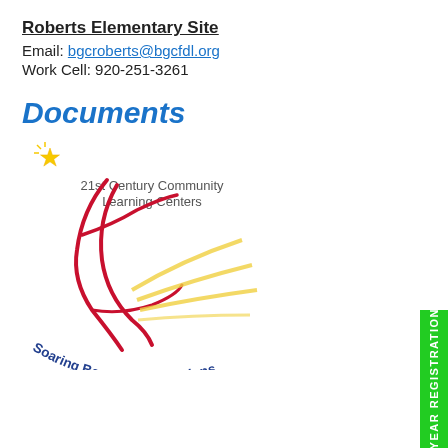Roberts Elementary Site
Email: bgcroberts@bgcfdl.org
Work Cell: 920-251-3261
Documents
[Figure (logo): 21st Century Community Learning Centers logo with a figure, star, and text 'Soaring Beyond Expectations']
YEAR REGISTRATION